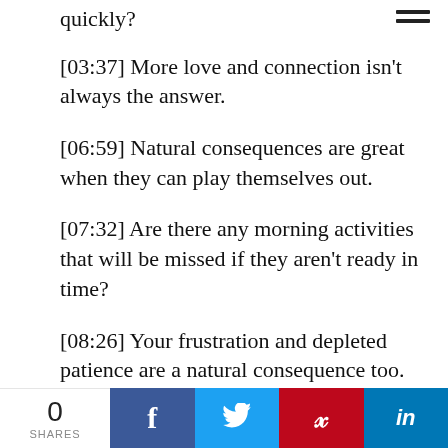quickly?
[03:37] More love and connection isn't always the answer.
[06:59] Natural consequences are great when they can play themselves out.
[07:32] Are there any morning activities that will be missed if they aren't ready in time?
[08:26] Your frustration and depleted patience are a natural consequence too.
0 SHARES | Facebook | Twitter | Pinterest | LinkedIn